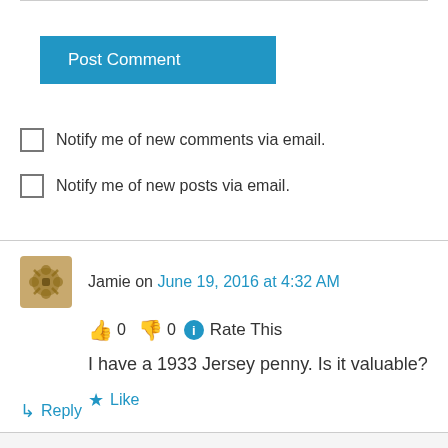[Figure (other): Post Comment button - blue rectangle with white text]
Notify me of new comments via email.
Notify me of new posts via email.
Jamie on June 19, 2016 at 4:32 AM
👍 0 👎 0 ℹ Rate This
I have a 1933 Jersey penny. Is it valuable?
★ Like
↳ Reply